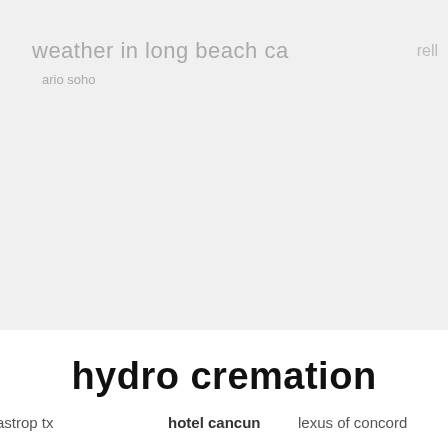weather in long beach ca
rell
ario soho
hydro cremation
astrop tx
hotel cancun
lexus of concord